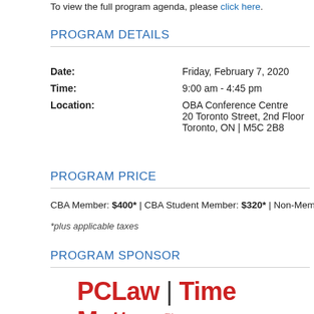To view the full program agenda, please click here.
PROGRAM DETAILS
| Date: | Friday, February 7, 2020 |
| Time: | 9:00 am - 4:45 pm |
| Location: | OBA Conference Centre
20 Toronto Street, 2nd Floor
Toronto, ON | M5C 2B8 |
PROGRAM PRICE
CBA Member: $400* | CBA Student Member: $320* | Non-Member: $59...
*plus applicable taxes
PROGRAM SPONSOR
[Figure (logo): PCLaw | Time Matters logo in red and black]